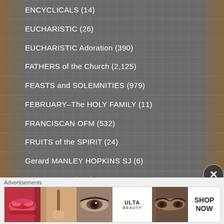ENCYCLICALS (14)
EUCHARISTIC (26)
EUCHARISTIC Adoration (390)
FATHERS of the Church (2,125)
FEASTS and SOLEMNITIES (979)
FEBRUARY–The HOLY FAMILY (11)
FRANCISCAN OFM (532)
FRUITS of the SPIRIT (24)
Gerard MANLEY HOPKINS SJ (6)
GOD ALONE! (419)
GOD is LOVE (149)
Advertisements
[Figure (photo): ULTA Beauty advertisement banner showing cosmetics imagery with lips, makeup brush, eye, ULTA logo, eye close-up, and SHOP NOW text]